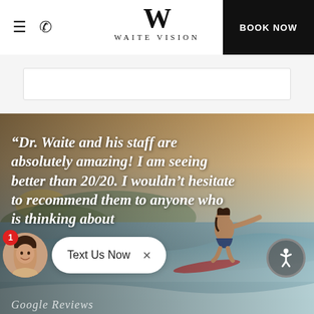Waite Vision — BOOK NOW
[Figure (photo): Hero image of a male surfer riding a wave at golden hour, with a patient testimonial quote overlaid in white italic serif text]
“Dr. Waite and his staff are absolutely amazing! I am seeing better than 20/20. I wouldn’t hesitate to recommend them to anyone who is thinking about
[Figure (screenshot): Chat widget with female avatar, red notification badge showing '1', and 'Text Us Now' button with close X]
Google Reviews